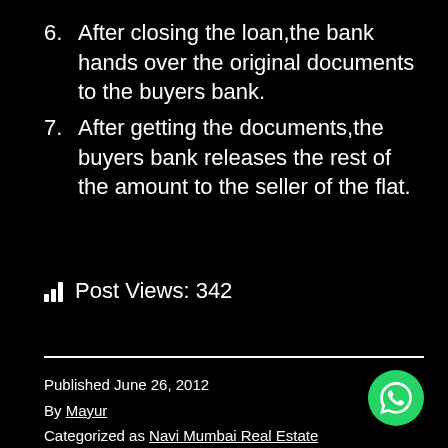6. After closing the loan,the bank hands over the original documents to the buyers bank.
7. After getting the documents,the buyers bank releases the rest of the amount to the seller of the flat.
Post Views: 342
Published June 26, 2012
By Mayur
Categorized as Navi Mumbai Real Estate